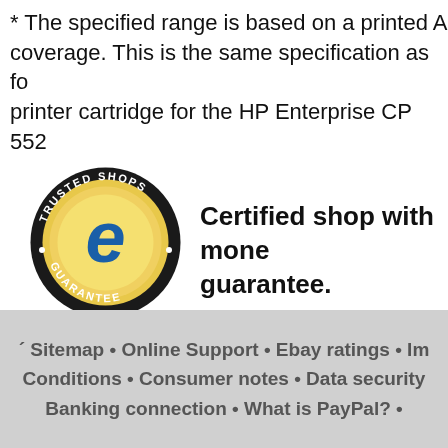* The specified range is based on a printed A coverage. This is the same specification as for printer cartridge for the HP Enterprise CP 552
[Figure (logo): Trusted Shops Guarantee logo - circular badge with black border, gold background, blue 'e' letter in center, text 'TRUSTED SHOPS' at top and 'GUARANTEE' at bottom]
Certified shop with money-back guarantee.
Sitemap • Online Support • Ebay ratings • Imprint • Terms & Conditions • Consumer notes • Data security • Banking connection • What is PayPal? •